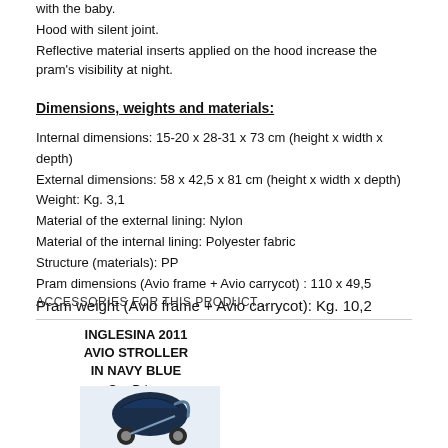with the baby.
Hood with silent joint.
Reflective material inserts applied on the hood increase the pram's visibility at night.
Dimensions, weights and materials:
Internal dimensions: 15-20 x 28-31 x 73 cm (height x width x depth)
External dimensions: 58 x 42,5 x 81 cm (height x width x depth)
Weight: Kg. 3,1
Material of the external lining: Nylon
Material of the internal lining: Polyester fabric
Structure (materials): PP
Pram dimensions (Avio frame + Avio carrycot) : 110 x 49,5
Pram weight (Avio frame + Avio carrycot): Kg. 10,2
ACCESSORIES FOR THIS PRODUCT...
INGLESINA 2011 AVIO STROLLER IN NAVY BLUE
Our Price:
$479.00
[Figure (photo): Photo of Inglesina 2011 Avio Stroller in Navy Blue]